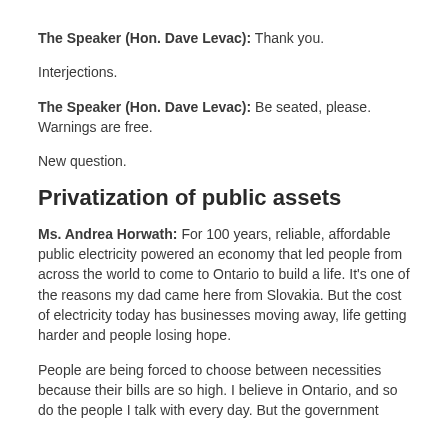The Speaker (Hon. Dave Levac): Thank you.
Interjections.
The Speaker (Hon. Dave Levac): Be seated, please. Warnings are free.
New question.
Privatization of public assets
Ms. Andrea Horwath: For 100 years, reliable, affordable public electricity powered an economy that led people from across the world to come to Ontario to build a life. It's one of the reasons my dad came here from Slovakia. But the cost of electricity today has businesses moving away, life getting harder and people losing hope.
People are being forced to choose between necessities because their bills are so high. I believe in Ontario, and so do the people I talk with every day. But the government...